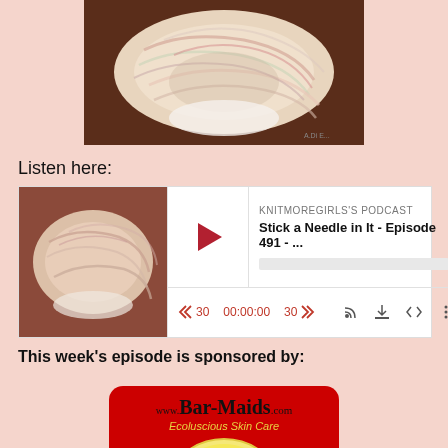[Figure (photo): A skein of cream and blush-colored yarn photographed on a dark wooden surface]
Listen here:
[Figure (screenshot): Podcast player widget for KNITMOREGIRLS'S PODCAST, episode 'Stick a Needle in It - Episode 491 - ...', showing play button, time 00:00:00, rewind 30 and forward 30 controls, and player icons]
This week's episode is sponsored by:
[Figure (logo): Bar-Maids.com Ecoluscious Skin Care logo on red background with illustrated face in yellow circle]